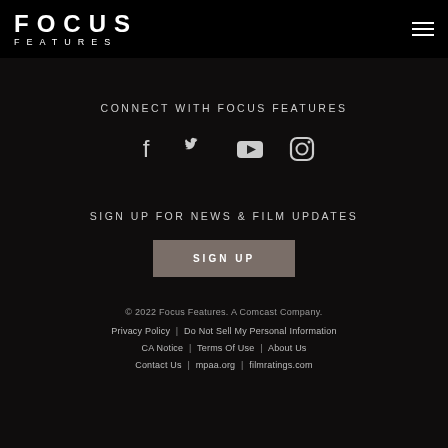FOCUS FEATURES
CONNECT WITH FOCUS FEATURES
[Figure (infographic): Social media icons: Facebook, Twitter, YouTube, Instagram]
SIGN UP FOR NEWS & FILM UPDATES
SIGN UP
© 2022 Focus Features. A Comcast Company. Privacy Policy | Do Not Sell My Personal Information | CA Notice | Terms Of Use | About Us | Contact Us | mpaa.org | filmratings.com